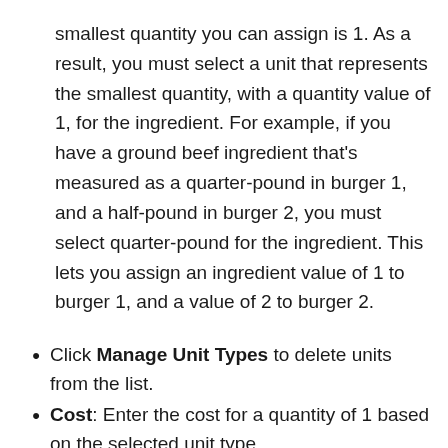smallest quantity you can assign is 1. As a result, you must select a unit that represents the smallest quantity, with a quantity value of 1, for the ingredient. For example, if you have a ground beef ingredient that's measured as a quarter-pound in burger 1, and a half-pound in burger 2, you must select quarter-pound for the ingredient. This lets you assign an ingredient value of 1 to burger 1, and a value of 2 to burger 2.
Click Manage Unit Types to delete units from the list.
Cost: Enter the cost for a quantity of 1 based on the selected unit type.